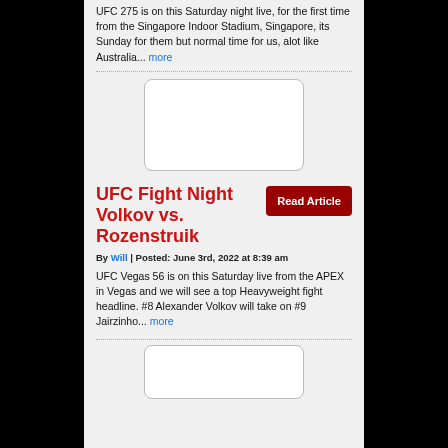UFC 275 is on this Saturday night live, for the first time from the Singapore Indoor Stadium, Singapore, its Sunday for them but normal time for us, alot like Australia... more
[Figure (other): Empty white box with rounded corners (advertisement placeholder)]
UFC Fight Night Volkov vs. Rozenstruik
By Will | Posted: June 3rd, 2022 at 8:39 am
UFC Vegas 56 is on this Saturday live from the APEX in Vegas and we will see a top Heavyweight fight headline. #8 Alexander Volkov will take on #9 Jairzinho... more
[Figure (other): Empty white box with rounded corners (advertisement placeholder)]